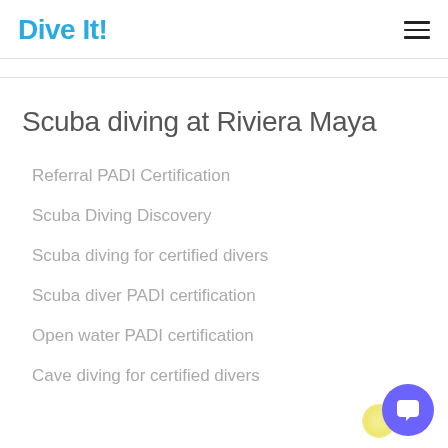Dive It!
Scuba diving at Riviera Maya
Referral PADI Certification
Scuba Diving Discovery
Scuba diving for certified divers
Scuba diver PADI certification
Open water PADI certification
Cave diving for certified divers